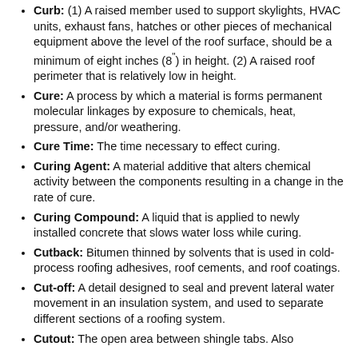Curb: (1) A raised member used to support skylights, HVAC units, exhaust fans, hatches or other pieces of mechanical equipment above the level of the roof surface, should be a minimum of eight inches (8") in height. (2) A raised roof perimeter that is relatively low in height.
Cure: A process by which a material is forms permanent molecular linkages by exposure to chemicals, heat, pressure, and/or weathering.
Cure Time: The time necessary to effect curing.
Curing Agent: A material additive that alters chemical activity between the components resulting in a change in the rate of cure.
Curing Compound: A liquid that is applied to newly installed concrete that slows water loss while curing.
Cutback: Bitumen thinned by solvents that is used in cold-process roofing adhesives, roof cements, and roof coatings.
Cut-off: A detail designed to seal and prevent lateral water movement in an insulation system, and used to separate different sections of a roofing system.
Cutout: The open area between shingle tabs. Also...